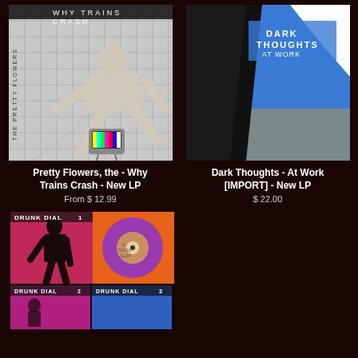[Figure (photo): Album cover for Pretty Flowers 'Why Trains Crash' - black and white photo of athlete in starting position on a grid background with a TV set]
Pretty Flowers, the - Why Trains Crash - New LP
From $ 12.99
[Figure (photo): Album cover for Dark Thoughts 'At Work' - geometric design with blue, white, black and gray angular shapes]
Dark Thoughts - At Work [IMPORT] - New LP
$ 22.00
[Figure (photo): Album cover for Drunk Dial #1 - pink/magenta background with black silhouette figure and orange vinyl record visible]
[Figure (photo): Drunk Dial #2 album art thumbnail]
[Figure (photo): Drunk Dial #3 album art thumbnail]